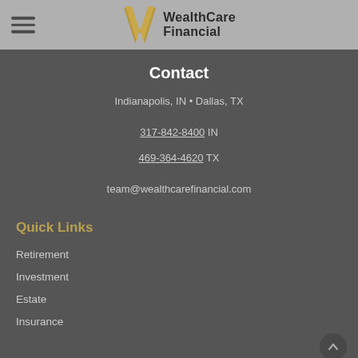WealthCare Financial
Contact
Indianapolis, IN • Dallas, TX
317-842-8400 IN
469-364-4620 TX
team@wealthcarefinancial.com
Quick Links
Retirement
Investment
Estate
Insurance